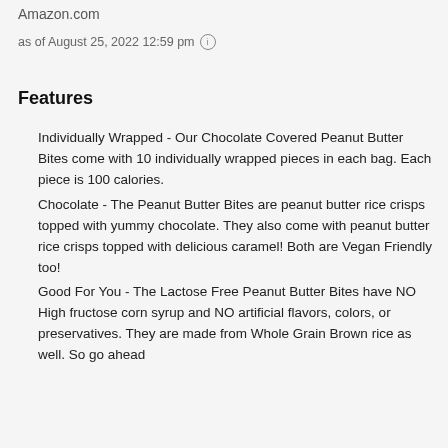Amazon.com
as of August 25, 2022 12:59 pm ⓘ
Features
Individually Wrapped - Our Chocolate Covered Peanut Butter Bites come with 10 individually wrapped pieces in each bag. Each piece is 100 calories.
Chocolate - The Peanut Butter Bites are peanut butter rice crisps topped with yummy chocolate. They also come with peanut butter rice crisps topped with delicious caramel! Both are Vegan Friendly too!
Good For You - The Lactose Free Peanut Butter Bites have NO High fructose corn syrup and NO artificial flavors, colors, or preservatives. They are made from Whole Grain Brown rice as well. So go ahead